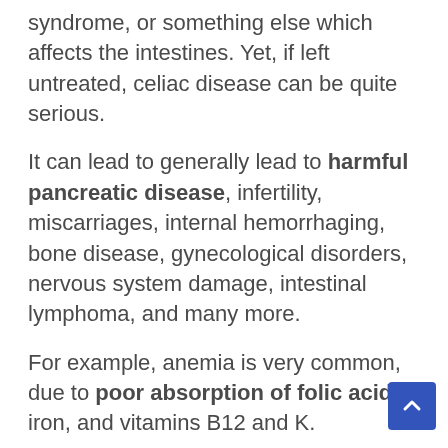syndrome, or something else which affects the intestines. Yet, if left untreated, celiac disease can be quite serious.
It can lead to generally lead to harmful pancreatic disease, infertility, miscarriages, internal hemorrhaging, bone disease, gynecological disorders, nervous system damage, intestinal lymphoma, and many more.
For example, anemia is very common, due to poor absorption of folic acid, iron, and vitamins B12 and K.
Scarring of the intestinal lining can progress so far that, by the age of 45 to 50, 90% of the